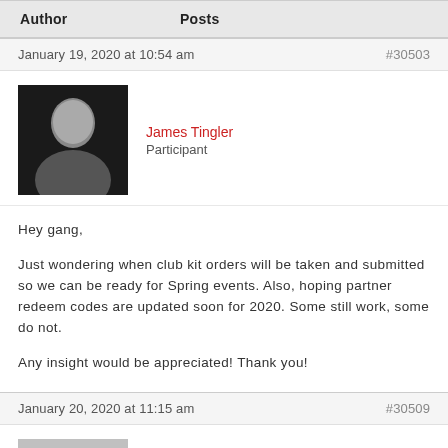| Author | Posts |
| --- | --- |
January 19, 2020 at 10:54 am
#30503
James Tingler
Participant
Hey gang,

Just wondering when club kit orders will be taken and submitted so we can be ready for Spring events.  Also, hoping partner redeem codes are updated soon for 2020. Some still work, some do not.

Any insight would be appreciated!  Thank you!
January 20, 2020 at 11:15 am
#30509
Julia Follick
Participant